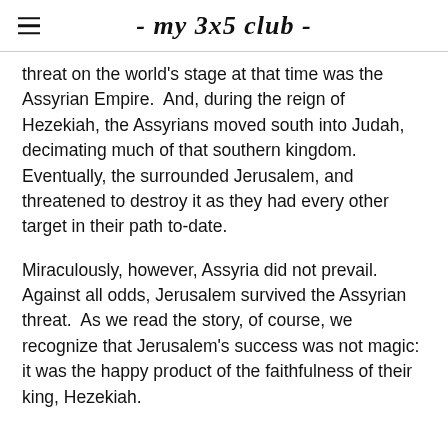- my 3x5 club -
threat on the world's stage at that time was the Assyrian Empire.  And, during the reign of Hezekiah, the Assyrians moved south into Judah, decimating much of that southern kingdom.  Eventually, the surrounded Jerusalem, and threatened to destroy it as they had every other target in their path to-date.
Miraculously, however, Assyria did not prevail. Against all odds, Jerusalem survived the Assyrian threat.  As we read the story, of course, we recognize that Jerusalem's success was not magic: it was the happy product of the faithfulness of their king, Hezekiah.